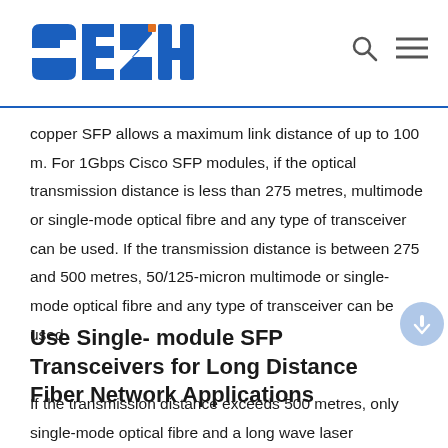GEZHI
copper SFP allows a maximum link distance of up to 100 m. For 1Gbps Cisco SFP modules, if the optical transmission distance is less than 275 metres, multimode or single-mode optical fibre and any type of transceiver can be used. If the transmission distance is between 275 and 500 metres, 50/125-micron multimode or single-mode optical fibre and any type of transceiver can be used.
Use Single- module SFP Transceivers for Long Distance Fiber Network Applications
If the transmission distance exceeds 500 metres, only single-mode optical fibre and a long wave laser transceiver can be used.